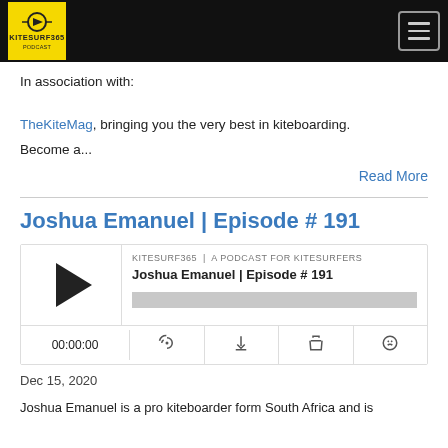[Figure (logo): KITESURF365 logo in yellow box on black navigation bar with hamburger menu icon]
In association with:
TheKiteMag, bringing you the very best in kiteboarding.
Become a...
Read More
Joshua Emanuel | Episode # 191
[Figure (screenshot): Podcast player widget for KITESURF365 - A PODCAST FOR KITESURFERS, episode Joshua Emanuel | Episode # 191, showing play button, progress bar, time 00:00:00, and controls for subscribe, download, embed, and notification]
Dec 15, 2020
Joshua Emanuel is a pro kiteboarder form South Africa and is